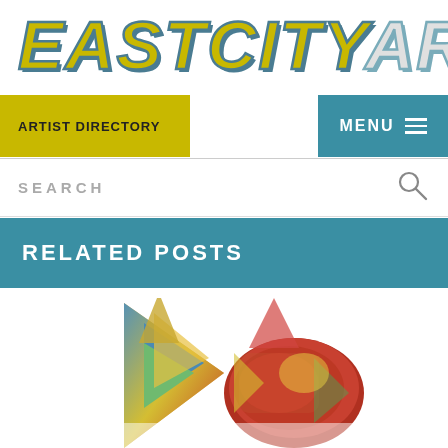[Figure (logo): EastCityArt logo with EASTCITY in yellow/gold italic bold letters and ART in gray/white italic bold letters, both with teal blue shadow/stroke]
ARTIST DIRECTORY
MENU ≡
SEARCH
RELATED POSTS
[Figure (photo): Colorful painted ceramic or sculptural object with vibrant red, yellow, blue, green colors, triangular shapes, bottom portion visible]